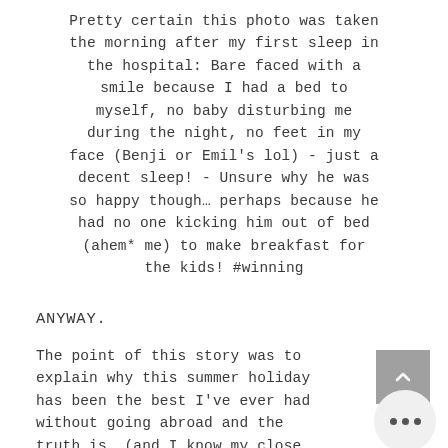Pretty certain this photo was taken the morning after my first sleep in the hospital: Bare faced with a smile because I had a bed to myself, no baby disturbing me during the night, no feet in my face (Benji or Emil's lol) - just a decent sleep! - Unsure why he was so happy though… perhaps because he had no one kicking him out of bed (ahem* me) to make breakfast for the kids! #winning
ANYWAY.
The point of this story was to explain why this summer holiday has been the best I've ever had without going abroad and the truth is… (and I know my close frien… family reading this may feel a type of way about reading this…